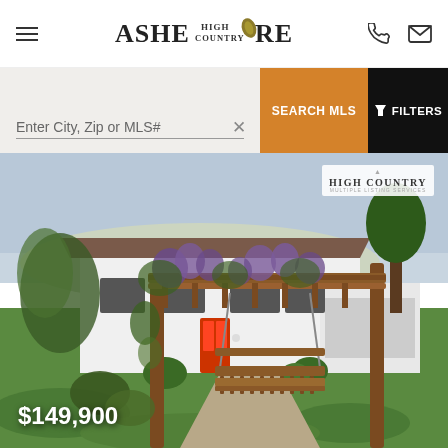[Figure (logo): Ashe High Country Realty logo with hamburger menu, phone icon, and email icon in header]
Enter City, Zip or MLS#
SEARCH MLS
FILTERS
[Figure (photo): Exterior photo of a white ranch-style house with a wooden pergola and swing in the foreground, ivy and flowering vines, green lawn, overcast sky. High Country watermark in top right.]
$149,900